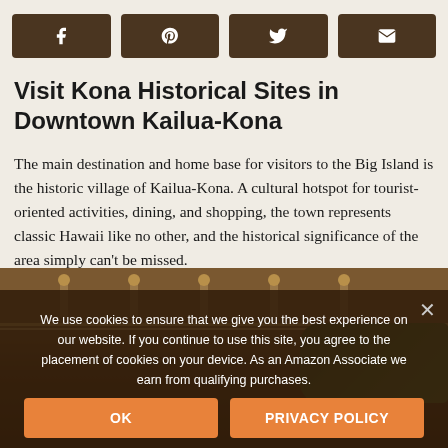[Figure (other): Social sharing buttons row: Facebook, Pinterest, Twitter, Email icons on dark brown buttons]
Visit Kona Historical Sites in Downtown Kailua-Kona
The main destination and home base for visitors to the Big Island is the historic village of Kailua-Kona. A cultural hotspot for tourist-oriented activities, dining, and shopping, the town represents classic Hawaii like no other, and the historical significance of the area simply can't be missed.
[Figure (photo): Photo of a historic building with decorative roofline and tropical trees in Kailua-Kona, Hawaii]
We use cookies to ensure that we give you the best experience on our website. If you continue to use this site, you agree to the placement of cookies on your device. As an Amazon Associate we earn from qualifying purchases.